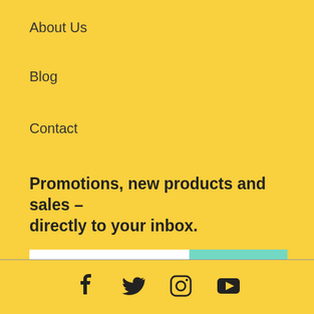About Us
Blog
Contact
Promotions, new products and sales – directly to your inbox.
[Figure (infographic): Email subscription bar with input field placeholder 'Email address' and a teal SUBSCRIBE button]
[Figure (infographic): Social media icons: Facebook, Twitter, Instagram, YouTube]